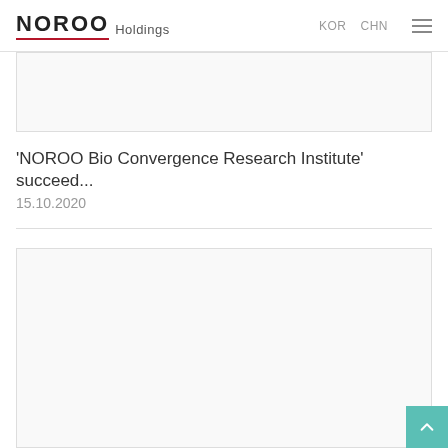NOROO Holdings  KOR  CHN
[Figure (photo): Top image placeholder box, light gray with border]
'NOROO Bio Convergence Research Institute' succeed...
15.10.2020
[Figure (photo): Bottom image placeholder box, light gray with border]